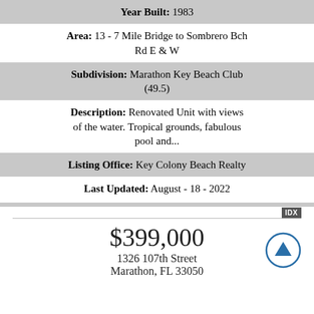Year Built: 1983
Area: 13 - 7 Mile Bridge to Sombrero Bch Rd E & W
Subdivision: Marathon Key Beach Club (49.5)
Description: Renovated Unit with views of the water. Tropical grounds, fabulous pool and...
Listing Office: Key Colony Beach Realty
Last Updated: August - 18 - 2022
$399,000
1326 107th Street
Marathon, FL 33050